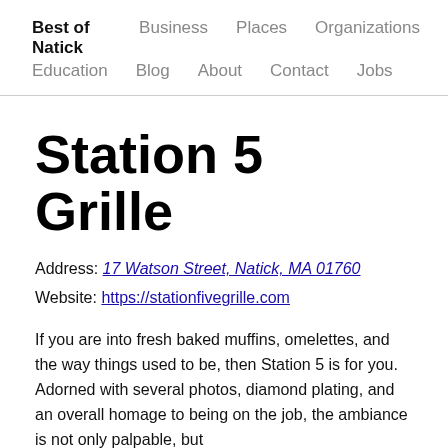Best of Natick   Business   Places   Organizations   Education   Blog   About   Contact   Jobs
Station 5 Grille
Address: 17 Watson Street, Natick, MA 01760
Website: https://stationfivegrille.com
If you are into fresh baked muffins, omelettes, and the way things used to be, then Station 5 is for you. Adorned with several photos, diamond plating, and an overall homage to being on the job, the ambiance is not only palpable, but